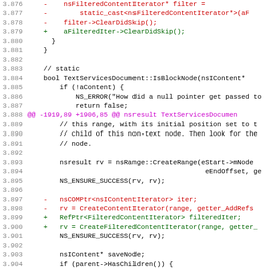[Figure (screenshot): Code diff view showing C++ source code lines 3.876 through 3.907, with red lines indicating deletions and green lines indicating additions, magenta line showing diff hunk header.]